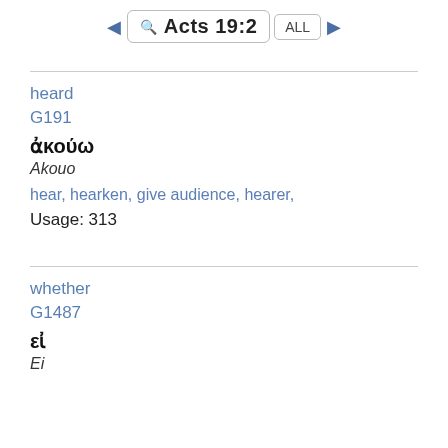Acts 19:2
heard
G191
ἀκούω
Akouo
hear, hearken, give audience, hearer,
Usage: 313
whether
G1487
εἰ
Ei